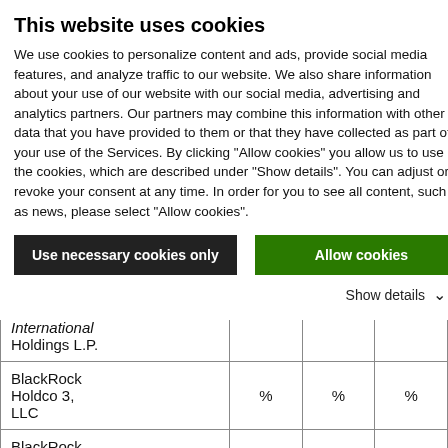This website uses cookies
We use cookies to personalize content and ads, provide social media features, and analyze traffic to our website. We also share information about your use of our website with our social media, advertising and analytics partners. Our partners may combine this information with other data that you have provided to them or that they have collected as part of your use of the Services. By clicking "Allow cookies" you allow us to use the cookies, which are described under "Show details". You can adjust or revoke your consent at any time. In order for you to see all content, such as news, please select "Allow cookies".
Use necessary cookies only | Allow cookies
Show details
|  |  |  |  |
| --- | --- | --- | --- |
| International Holdings L.P. | % | % | % |
| BlackRock Holdco 3, LLC | % | % | % |
| BlackRock Cayman 1 L.P. | % | % | % |